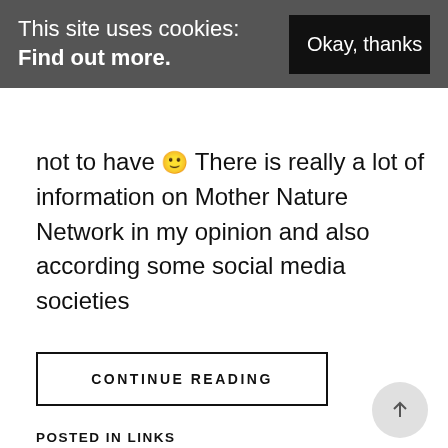This site uses cookies: Find out more.
Okay, thanks
not to have 🙂 There is really a lot of information on Mother Nature Network in my opinion and also according some social media societies
CONTINUE READING
POSTED IN LINKS
THING'S SECOND LIFE